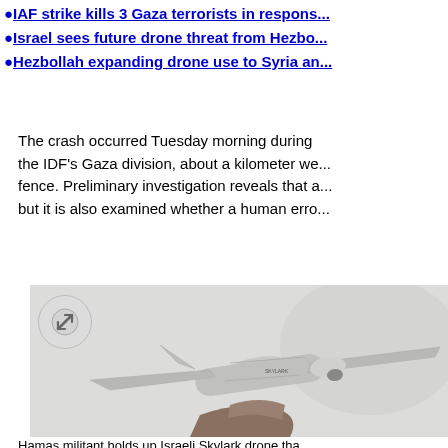IAF strike kills 3 Gaza terrorists in respons...
Israel sees future drone threat from Hezbo...
Hezbollah expanding drone use to Syria an...
The crash occurred Tuesday morning during the IDF's Gaza division, about a kilometer we... fence. Preliminary investigation reveals that a... but it is also examined whether a human erro...
[Figure (photo): A Hamas militant holds up an Israeli Skylark drone. The drone is white/grey colored with a cylindrical body and swept wings. A person in military fatigues is visible holding the drone from below.]
Hamas militant holds up Israeli Skylark drone tha...